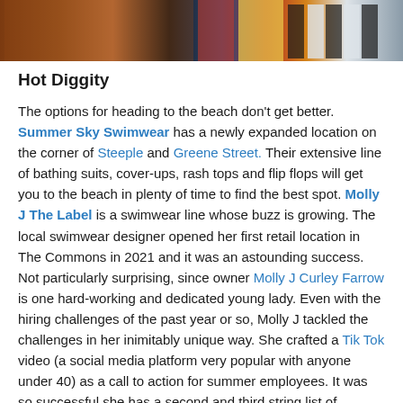[Figure (photo): Colorful clothing items including swimwear, striped and patterned garments hanging or folded, with warm wooden background tones visible.]
Hot Diggity
The options for heading to the beach don't get better. Summer Sky Swimwear has a newly expanded location on the corner of Steeple and Greene Street. Their extensive line of bathing suits, cover-ups, rash tops and flip flops will get you to the beach in plenty of time to find the best spot. Molly J The Label is a swimwear line whose buzz is growing. The local swimwear designer opened her first retail location in The Commons in 2021 and it was an astounding success. Not particularly surprising, since owner Molly J Curley Farrow is one hard-working and dedicated young lady. Even with the hiring challenges of the past year or so, Molly J tackled the challenges in her inimitably unique way. She crafted a Tik Tok video (a social media platform very popular with anyone under 40) as a call to action for summer employees. It was so successful she has a second and third string list of applicants for the 2022 season. Her size-inclusive line of